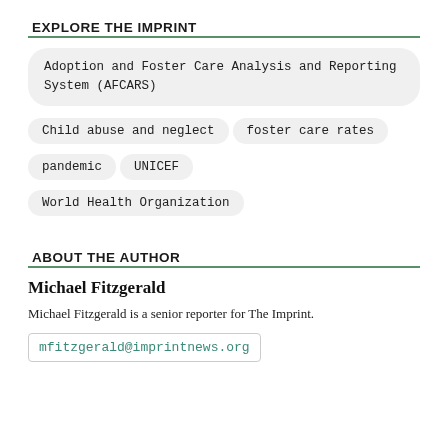EXPLORE THE IMPRINT
Adoption and Foster Care Analysis and Reporting System (AFCARS)
Child abuse and neglect
foster care rates
pandemic
UNICEF
World Health Organization
ABOUT THE AUTHOR
Michael Fitzgerald
Michael Fitzgerald is a senior reporter for The Imprint.
mfitzgerald@imprintnews.org